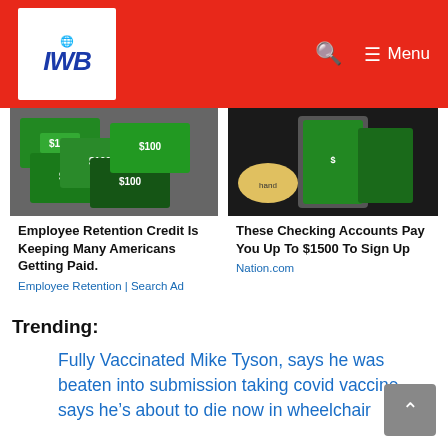IWB — Menu (navigation header with search icon)
[Figure (photo): Photo of US dollar bills spread out flat]
Employee Retention Credit Is Keeping Many Americans Getting Paid.
Employee Retention | Search Ad
[Figure (photo): Photo of a hand holding a thick stack of US dollar bills]
These Checking Accounts Pay You Up To $1500 To Sign Up
Nation.com
Trending:
Fully Vaccinated Mike Tyson, says he was beaten into submission taking covid vaccine says he’s about to die now in wheelchair